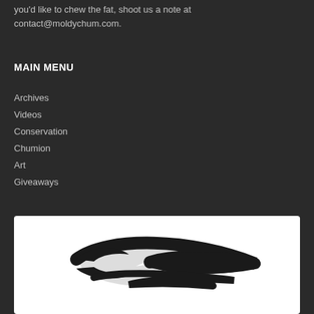you'd like to chew the fat, shoot us a note at contact@moldychum.com.
MAIN MENU
Archives
Videos
Conservation
Chumion
Art
Giveaways
[Figure (logo): Moldy Chum logo — stylized fish or wave shape in black on white background]